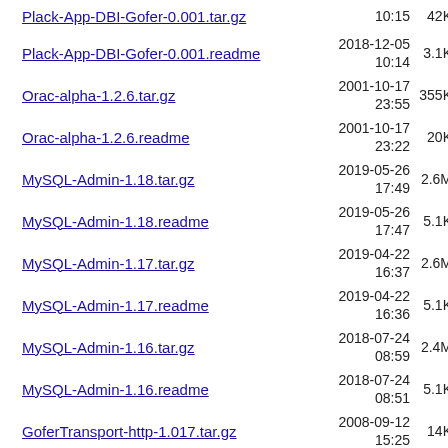Plack-App-DBI-Gofer-0.001.tar.gz  2018-12-05 10:15  42K
Plack-App-DBI-Gofer-0.001.readme  2018-12-05 10:14  3.1K
Orac-alpha-1.2.6.tar.gz  2001-10-17 23:55  355K
Orac-alpha-1.2.6.readme  2001-10-17 23:22  20K
MySQL-Admin-1.18.tar.gz  2019-05-26 17:49  2.6M
MySQL-Admin-1.18.readme  2019-05-26 17:47  5.1K
MySQL-Admin-1.17.tar.gz  2019-04-22 16:37  2.6M
MySQL-Admin-1.17.readme  2019-04-22 16:36  5.1K
MySQL-Admin-1.16.tar.gz  2018-07-24 08:59  2.4M
MySQL-Admin-1.16.readme  2018-07-24 08:51  5.1K
GoferTransport-http-1.017.tar.gz  2008-09-12 15:25  14K
GoferTransport-http-1.017.readme  2007-04-18 01:04  387